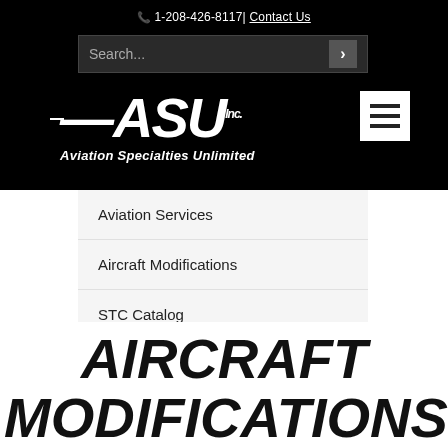📞 1-208-426-8117 | Contact Us
[Figure (screenshot): Search bar with placeholder text 'Search...' and arrow button on black background]
[Figure (logo): ASU Inc. Aviation Specialties Unlimited logo in white italic bold text on black background with wing lines]
[Figure (other): Hamburger menu icon (three horizontal bars) in white square on black background]
Aviation Services
Aircraft Modifications
STC Catalog
AIRCRAFT MODIFICATIONS